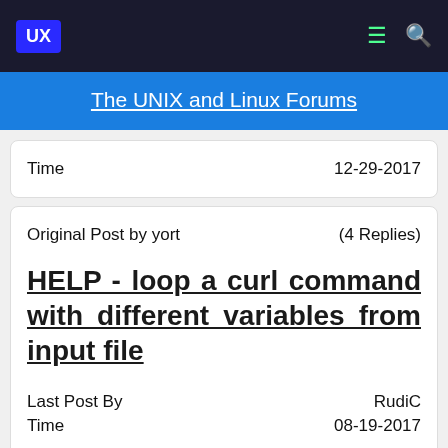UX — The UNIX and Linux Forums
The UNIX and Linux Forums
|  |  |
| --- | --- |
| Time | 12-29-2017 |
|  |  |
| --- | --- |
| Original Post by yort | (4 Replies) |
| HELP - loop a curl command with different variables from input file |  |
| Last Post By | RudiC |
| Time | 08-19-2017 |